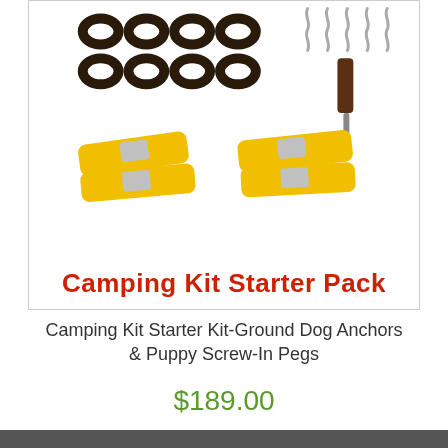[Figure (photo): Product photo of Camping Kit Starter Pack showing dark rubber figure-8 anchors, screw-in pegs with a drill bit tool, and four yellow ratchet straps with metal buckles. Bold red text at bottom reads 'Camping Kit Starter Pack'.]
Camping Kit Starter Kit-Ground Dog Anchors & Puppy Screw-In Pegs
$189.00